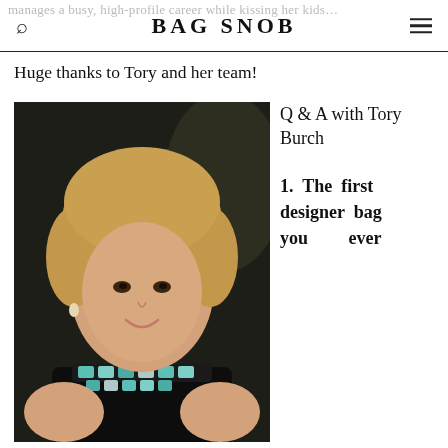BAG SNOB
Huge thanks to Tory and her team!
[Figure (photo): Portrait photo of Tory Burch, a blonde woman wearing a black top with a turquoise and silver jeweled necklace, smiling at the camera against a dark background.]
Q & A with Tory Burch
1. The first designer bag you ever